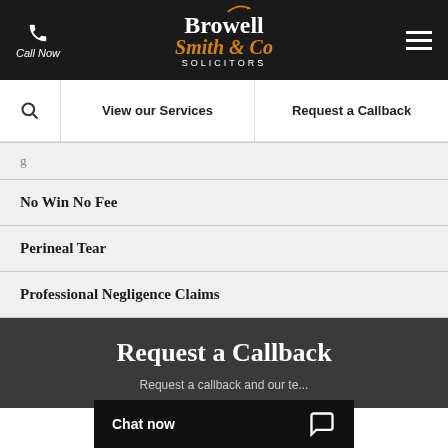Browell Smith & Co SOLICITORS — Call Now | View our Services | Request a Callback
No Win No Fee
Perineal Tear
Professional Negligence Claims
Request a Callback
Request a callback and our te...
Chat now